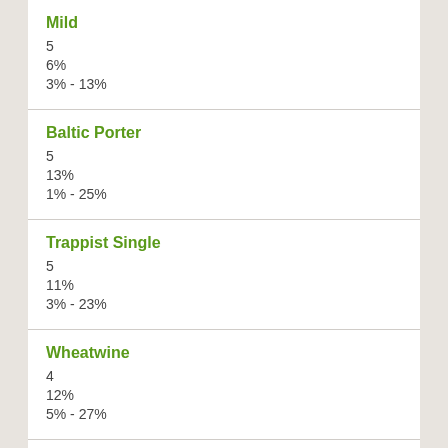Mild
5
6%
3% - 13%
Baltic Porter
5
13%
1% - 25%
Trappist Single
5
11%
3% - 23%
Wheatwine
4
12%
5% - 27%
Autumn Seasonal Beer